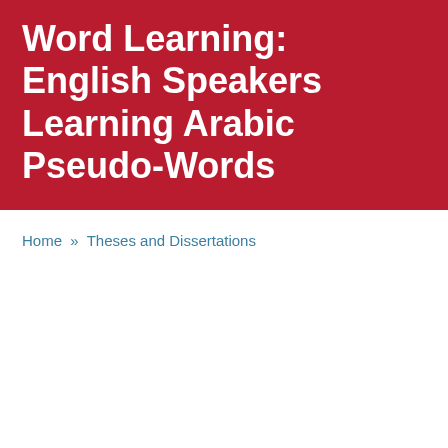Word Learning: English Speakers Learning Arabic Pseudo-Words
Home » Theses and Dissertations